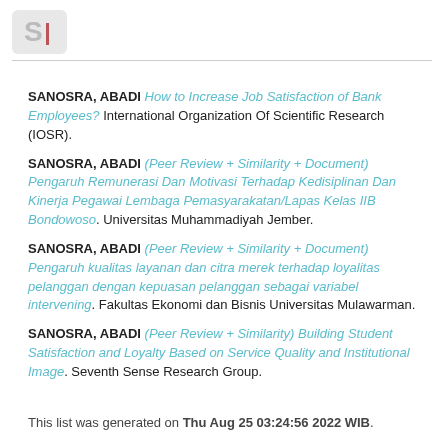S|
SANOSRA, ABADI How to Increase Job Satisfaction of Bank Employees? International Organization Of Scientific Research (IOSR).
SANOSRA, ABADI (Peer Review + Similarity + Document) Pengaruh Remunerasi Dan Motivasi Terhadap Kedisiplinan Dan Kinerja Pegawai Lembaga Pemasyarakatan/Lapas Kelas IIB Bondowoso. Universitas Muhammadiyah Jember.
SANOSRA, ABADI (Peer Review + Similarity + Document) Pengaruh kualitas layanan dan citra merek terhadap loyalitas pelanggan dengan kepuasan pelanggan sebagai variabel intervening. Fakultas Ekonomi dan Bisnis Universitas Mulawarman.
SANOSRA, ABADI (Peer Review + Similarity) Building Student Satisfaction and Loyalty Based on Service Quality and Institutional Image. Seventh Sense Research Group.
This list was generated on Thu Aug 25 03:24:56 2022 WIB.